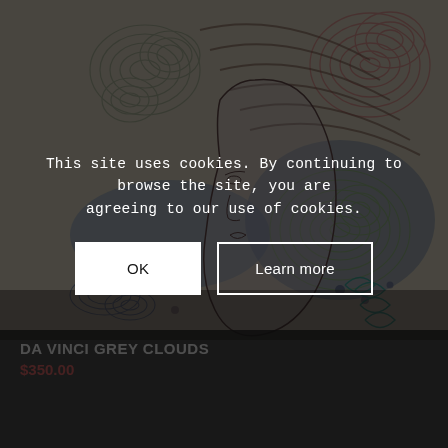[Figure (illustration): Artwork showing an abstract illustration of a female face in profile with swirling line patterns in grey, pink/coral, blue, and green-yellow. The composition features flowing hair lines, circular cloud-like forms, and organic shapes on a cream/beige background.]
DA VINCI GREY CLOUDS
$350.00
This site uses cookies. By continuing to browse the site, you are agreeing to our use of cookies.
OK
Learn more